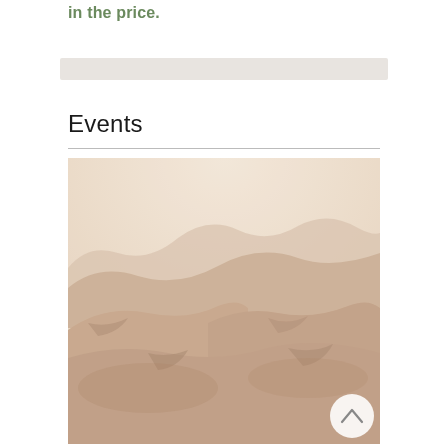in the price.
Events
[Figure (photo): Desert sand dunes landscape, warm beige/pink tones, soft light, photographed from a low angle showing undulating sand formations.]